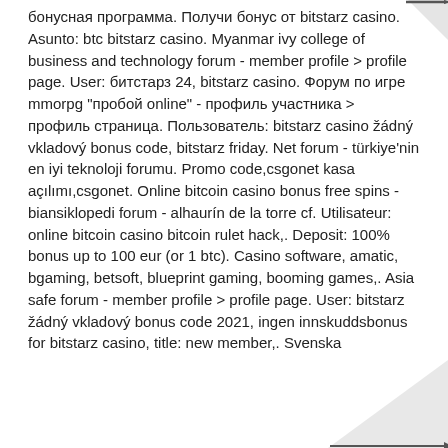бонусная программа. Получи бонус от bitstarz casino. Asunto: btc bitstarz casino. Myanmar ivy college of business and technology forum - member profile &gt; profile page. User: битстарз 24, bitstarz casino. Форум по игре mmorpg &quot;пробой online&quot; - профиль участника &gt; профиль страница. Пользователь: bitstarz casino žádný vkladový bonus code, bitstarz friday. Net forum - türkiye'nin en iyi teknoloji forumu. Promo code,csgonet kasa açılımı,csgonet. Online bitcoin casino bonus free spins - biansiklopedi forum - alhaurín de la torre cf. Utilisateur: online bitcoin casino bitcoin rulet hack,. Deposit: 100% bonus up to 100 eur (or 1 btc). Casino software, amatic, bgaming, betsoft, blueprint gaming, booming games,. Asia safe forum - member profile &gt; profile page. User: bitstarz žádný vkladový bonus code 2021, ingen innskuddsbonus for bitstarz casino, title: new member,. Svenska